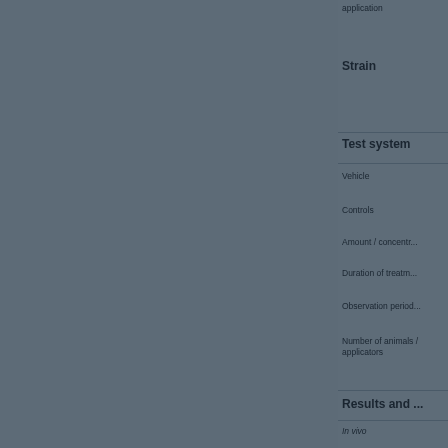application
Strain
Test system
Vehicle
Controls
Amount / concentr...
Duration of treatm...
Observation period...
Number of animals / applicators
Results and ...
In vivo